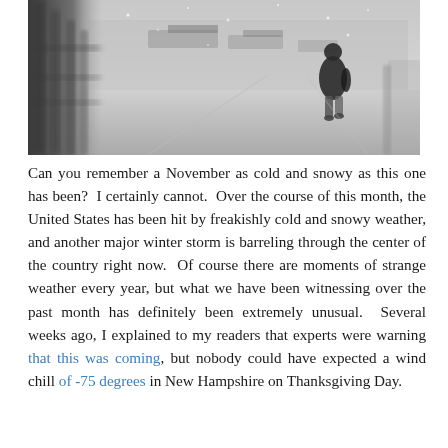[Figure (photo): Black and white photograph of a person walking away down a path in snowy/wintry conditions, with blurred fence posts in the foreground on the left side.]
Can you remember a November as cold and snowy as this one has been?  I certainly cannot.  Over the course of this month, the United States has been hit by freakishly cold and snowy weather, and another major winter storm is barreling through the center of the country right now.  Of course there are moments of strange weather every year, but what we have been witnessing over the past month has definitely been extremely unusual.  Several weeks ago, I explained to my readers that experts were warning that this was coming, but nobody could have expected a wind chill of -75 degrees in New Hampshire on Thanksgiving Day.